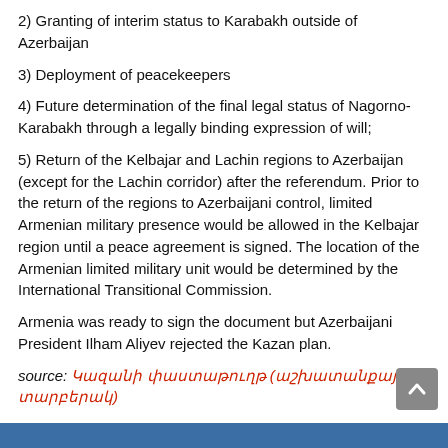2) Granting of interim status to Karabakh outside of Azerbaijan
3) Deployment of peacekeepers
4) Future determination of the final legal status of Nagorno-Karabakh through a legally binding expression of will;
5) Return of the Kelbajar and Lachin regions to Azerbaijan (except for the Lachin corridor) after the referendum. Prior to the return of the regions to Azerbaijani control, limited Armenian military presence would be allowed in the Kelbajar region until a peace agreement is signed. The location of the Armenian limited military unit would be determined by the International Transitional Commission.
Armenia was ready to sign the document but Azerbaijani President Ilham Aliyev rejected the Kazan plan.
source: Կազանի փաստաթուղթ (աշխատանքային տարբերակ)